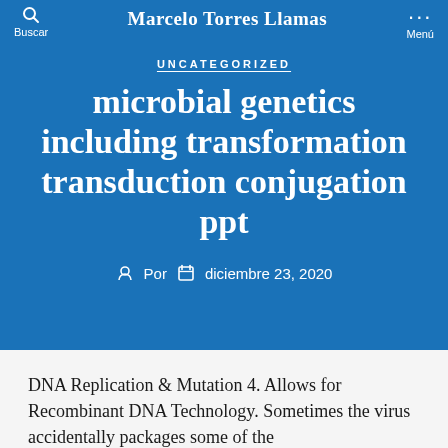Buscar | Marcelo Torres Llamas | Menú
UNCATEGORIZED
microbial genetics including transformation transduction conjugation ppt
Por  diciembre 23, 2020
DNA Replication & Mutation 4. Allows for Recombinant DNA Technology. Sometimes the virus accidentally packages some of the